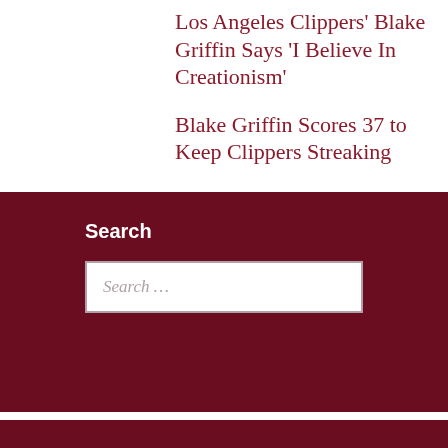Los Angeles Clippers' Blake Griffin Says 'I Believe In Creationism'
Blake Griffin Scores 37 to Keep Clippers Streaking
Search
Search …
August 2022